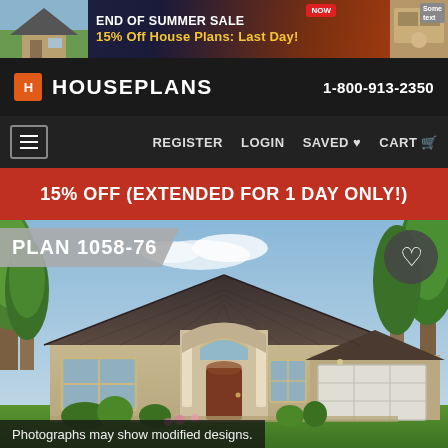[Figure (screenshot): Banner ad for HousePlans.com showing house image on left, text '15% Off House Plans: Last Day!' in center, NOW badge top right, decorative image on right]
HOUSEPLANS   1-800-913-2350
≡   REGISTER   LOGIN   SAVED ♥   CART
15% OFF (EXTENDED FOR 1 DAY ONLY!)
PLAN 1058-76
[Figure (illustration): Rendered illustration of a single-story ranch-style house with hip roof, attached garage, arched entryway, large windows, landscaping with trees and shrubs]
Photographs may show modified designs.